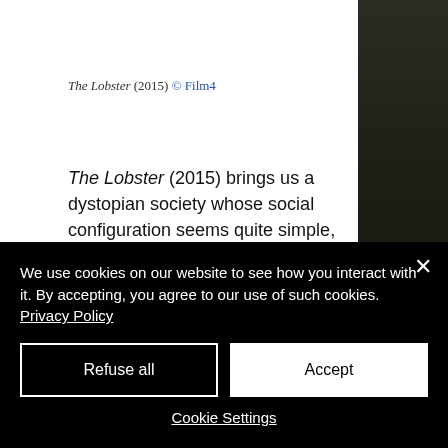[Figure (photo): Top portion: dark cinematic film still from The Lobster (2015), partially visible. Right side: dark nature/foliage photo strip.]
The Lobster (2015) © Film4
The Lobster (2015) brings us a dystopian society whose social configuration seems quite simple, "you only have the right to live in the city if you have a partner", while that is the norm of society, you ought to be in a "relationship", otherwise, if your status is single, divorced or widowed it is stated as criminal act whose
We use cookies on our website to see how you interact with it. By accepting, you agree to our use of such cookies. Privacy Policy
Refuse all
Accept
Cookie Settings